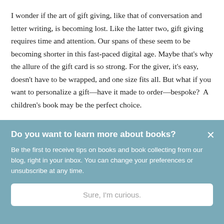I wonder if the art of gift giving, like that of conversation and letter writing, is becoming lost. Like the latter two, gift giving requires time and attention. Our spans of these seem to be becoming shorter in this fast-paced digital age. Maybe that's why the allure of the gift card is so strong. For the giver, it's easy, doesn't have to be wrapped, and one size fits all. But what if you want to personalize a gift—have it made to order—bespoke?  A children's book may be the perfect choice.
[Figure (photo): Partial view of an image strip, light blue-grey colored background, cropped at the bottom of the text area.]
Do you want to learn more about books?
Be the first to receive tips on books and book collecting from our blog, right in your inbox. You can change your preferences or unsubscribe at any time.
Sure, I'm curious.